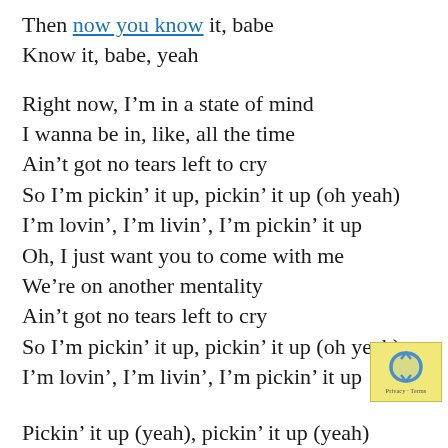Then now you know it, babe
Know it, babe, yeah
Right now, I'm in a state of mind
I wanna be in, like, all the time
Ain't got no tears left to cry
So I'm pickin' it up, pickin' it up (oh yeah)
I'm lovin', I'm livin', I'm pickin' it up
Oh, I just want you to come with me
We're on another mentality
Ain't got no tears left to cry
So I'm pickin' it up, pickin' it up (oh yeah)
I'm lovin', I'm livin', I'm pickin' it up
Pickin' it up (yeah), pickin' it up (yeah)